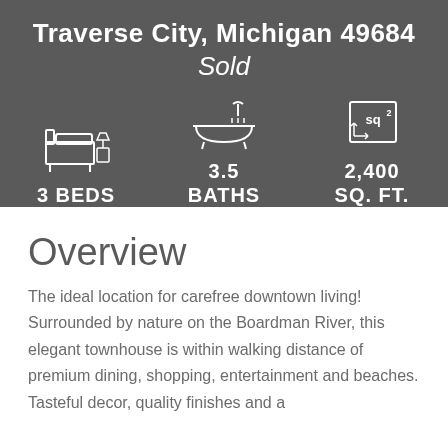Traverse City, Michigan 49684
Sold
[Figure (infographic): Three icons: bed icon with label '3 BEDS', bathtub icon with label '3.5 BATHS', square footage icon with label '2,400 SQ. FT.']
Overview
The ideal location for carefree downtown living! Surrounded by nature on the Boardman River, this elegant townhouse is within walking distance of premium dining, shopping, entertainment and beaches. Tasteful decor, quality finishes and a